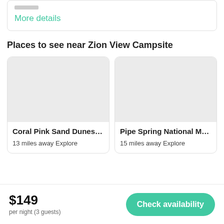More details
Places to see near Zion View Campsite
[Figure (photo): Gray placeholder image for Coral Pink Sand Dunes S...]
Coral Pink Sand Dunes S...
13 miles away Explore
[Figure (photo): Gray placeholder image for Pipe Spring National Mon...]
Pipe Spring National Mon...
15 miles away Explore
$149
per night (3 guests)
Check availability